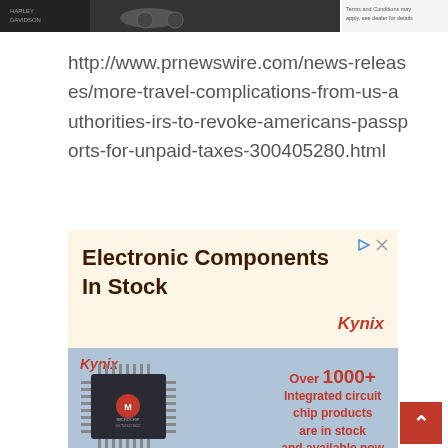[Figure (photo): Partial image strip at top showing Harley-Davidson motorcycle advertisement. Left side shows a Harley-Davidson logo and motorcycle. Right side shows text 'Terms and Conditions may apply, see dealer for details'.]
http://www.prnewswire.com/news-releases/more-travel-complications-from-us-authorities-irs-to-revoke-americans-passports-for-unpaid-taxes-300405280.html
[Figure (photo): Advertisement for Kynix Electronic Components. Top section has cream background with bold text 'Electronic Components In Stock' and Kynix logo in red italic. Bottom section shows a Microchip branded integrated circuit chip on blue-grey background with text 'Over 1000+ Integrated circuit chip products are in stock and available now'. Bottom bar is brown with 'Open' text and right arrow. Kynix logo appears in red at top-left of bottom section.]